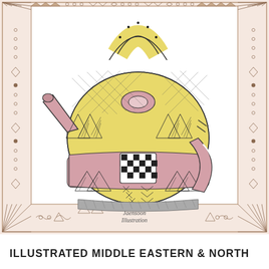[Figure (illustration): Illustrated decorative Middle Eastern / North African pottery teapot or vessel with a round body decorated with geometric patterns (triangles, checkerboard, hatching) in yellow and pink/mauve watercolor with black ink line detailing. The pot has a curved handle on top, a spout on the left side, and a pink band around the middle. The illustration is surrounded by an ornate decorative border with geometric and tribal motifs (diamonds, dots, triangles, wave patterns) on a light pink/beige background. At the bottom center of the border area is the text 'Jaensoon Illustration' in a handwritten/script style.]
ILLUSTRATED MIDDLE EASTERN & NORTH